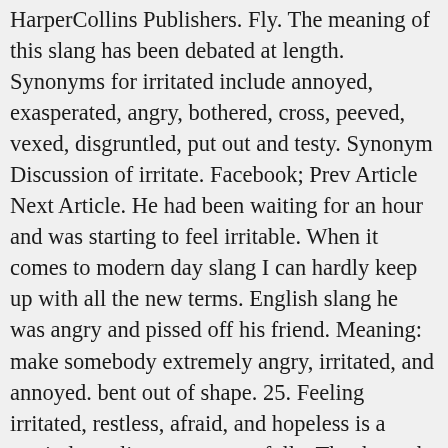HarperCollins Publishers. Fly. The meaning of this slang has been debated at length. Synonyms for irritated include annoyed, exasperated, angry, bothered, cross, peeved, vexed, disgruntled, put out and testy. Synonym Discussion of irritate. Facebook; Prev Article Next Article. He had been waiting for an hour and was starting to feel irritable. When it comes to modern day slang I can hardly keep up with all the new terms. English slang he was angry and pissed off his friend. Meaning: make somebody extremely angry, irritated, and annoyed. bent out of shape. 25. Feeling irritated, restless, afraid, and hopeless is a reminder to listen more carefully. Thanks to the cult-classic film Clueless, “as if” become incorporated into every conversation we’ve ever had since 1995. 24. Would you like to be the first one? Irritate definition is - to provoke impatience, anger, or displeasure in : annoy. English Collins Dictionary - English synonyms & Thesaurus. If you’re in a bad mood you might be labeled a...